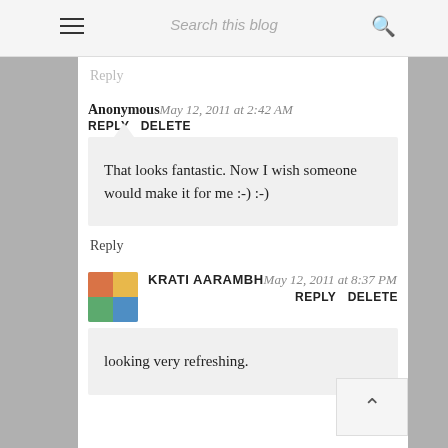Search this blog
Reply
Anonymous May 12, 2011 at 2:42 AM  REPLY  DELETE
That looks fantastic. Now I wish someone would make it for me :-) :-)
Reply
KRATI AARAMBH May 12, 2011 at 8:37 PM  REPLY  DELETE
looking very refreshing.